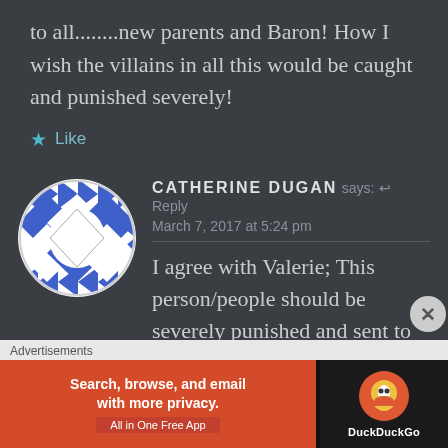to all........new parents and Baron! How I wish the villains in all this would be caught and punished severely!
★ Like
CATHERINE DUGAN says: ↩ Reply
March 7, 2017 at 5:24 pm
I agree with Valerie; This person/people should be severely punished and sent to jail for a long
[Figure (other): Advertisement banner: DuckDuckGo app ad - orange section with text 'Search, browse, and email with more privacy. All in One Free App' and dark section with DuckDuckGo logo]